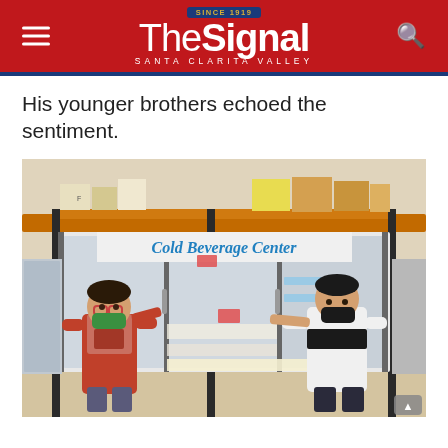The Signal - Santa Clarita Valley (Since 1919)
His younger brothers echoed the sentiment.
[Figure (photo): Two young boys wearing face masks standing in front of a 'Cold Beverage Center' refrigerator unit inside a warehouse store with metal shelving stocked with boxes overhead.]